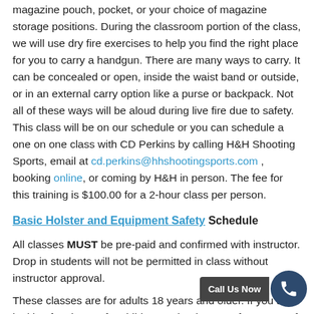magazine pouch, pocket, or your choice of magazine storage positions. During the classroom portion of the class, we will use dry fire exercises to help you find the right place for you to carry a handgun. There are many ways to carry. It can be concealed or open, inside the waist band or outside, or in an external carry option like a purse or backpack. Not all of these ways will be aloud during live fire due to safety. This class will be on our schedule or you can schedule a one on one class with CD Perkins by calling H&H Shooting Sports, email at cd.perkins@hhshootingsports.com , booking online, or coming by H&H in person. The fee for this training is $100.00 for a 2-hour class per person.
Basic Holster and Equipment Safety Schedule
All classes MUST be pre-paid and confirmed with instructor. Drop in students will not be permitted in class without instructor approval.
These classes are for adults 18 years and older. If you are looking for classes for children under the age of 18 years of age